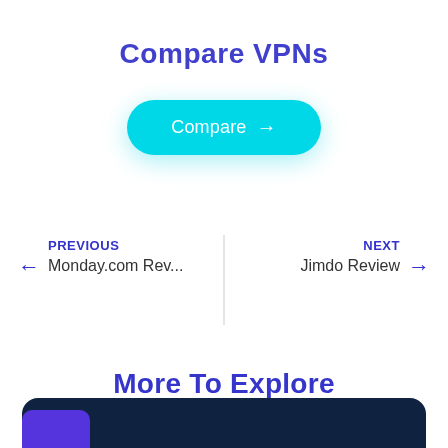Compare VPNs
Compare →
← PREVIOUS
Monday.com Rev...
NEXT →
Jimdo Review
More To Explore